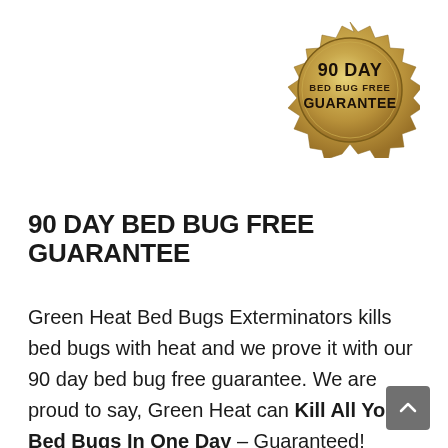[Figure (illustration): Gold/tan circular wax seal badge with jagged/zigzag edge. Text inside reads: '90 DAY' (large bold), 'BED BUG FREE' (smaller), 'GUARANTEE' (large bold). Dark brown text on gold gradient background.]
90 DAY BED BUG FREE GUARANTEE
Green Heat Bed Bugs Exterminators kills bed bugs with heat and we prove it with our 90 day bed bug free guarantee. We are proud to say, Green Heat can Kill All Your Bed Bugs In One Day – Guaranteed! Green Heat uses the industry's best Equipment. We have researched